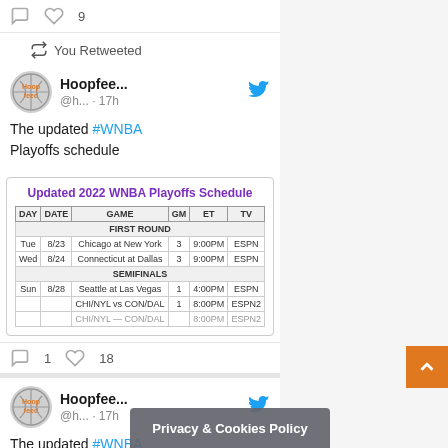[Figure (screenshot): Twitter/social media feed screenshot showing retweet banner, Hoopfeed tweet about updated WNBA Playoffs schedule with embedded schedule table image, engagement icons, and a second Hoopfeed tweet beginning. Privacy & Cookies Policy banner and orange scroll-to-top button visible.]